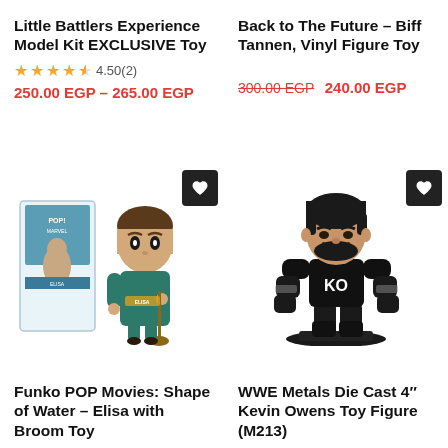Little Battlers Experience Model Kit EXCLUSIVE Toy
4.50(2)
250.00 EGP – 265.00 EGP
Back to The Future – Biff Tannen, Vinyl Figure Toy
300.00 EGP 240.00 EGP
[Figure (photo): Funko POP Movies: Shape of Water – Elisa with Broom Toy product image showing Funko POP box and vinyl figure of Elisa holding a broom]
Funko POP Movies: Shape of Water – Elisa with Broom Toy
[Figure (photo): WWE Metals Die Cast 4 inch Kevin Owens Toy Figure (M213) showing a muscular bearded man in black KO wrestling outfit]
WWE Metals Die Cast 4" Kevin Owens Toy Figure (M213)